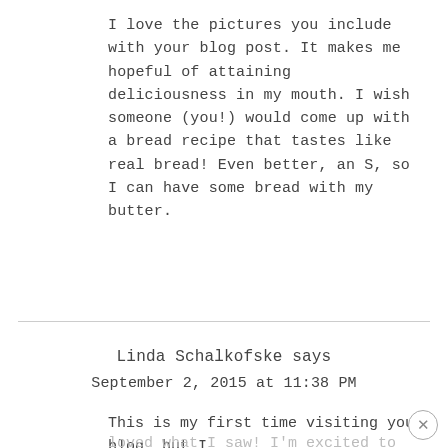I love the pictures you include with your blog post. It makes me hopeful of attaining deliciousness in my mouth. I wish someone (you!) would come up with a bread recipe that tastes like real bread! Even better, an S, so I can have some bread with my butter.
REPLY
Linda Schalkofske says
September 2, 2015 at 11:38 PM
This is my first time visiting your blog, but I loved what I saw! I'm excited to enter this drawing for Gentle Sweet and would love it even more if I win and actually get to TRY